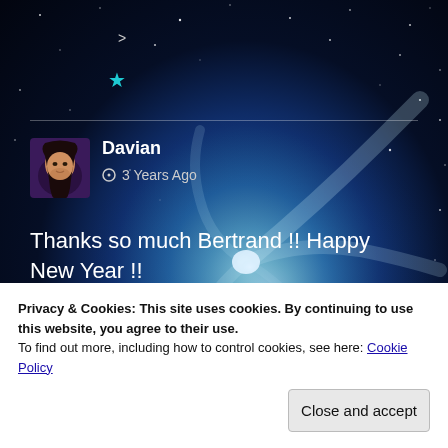[Figure (illustration): Space/galaxy background with blue spiral galaxy swirl and stars on dark background]
>
[Figure (illustration): Cyan/teal star icon]
Davian
3 Years Ago
Thanks so much Bertrand !! Happy New Year !!
Privacy & Cookies: This site uses cookies. By continuing to use this website, you agree to their use.
To find out more, including how to control cookies, see here: Cookie Policy
Close and accept